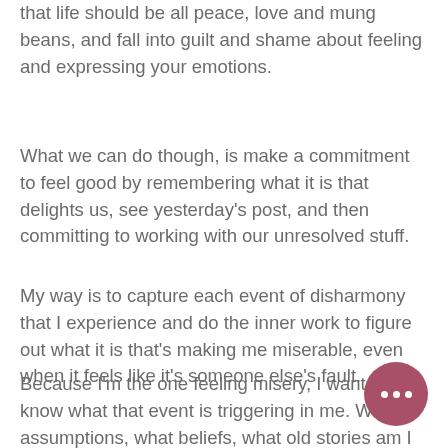that life should be all peace, love and mung beans, and fall into guilt and shame about feeling and expressing your emotions.
What we can do though, is make a commitment to feel good by remembering what it is that delights us, see yesterday's post, and then committing to working with our unresolved stuff.
My way is to capture each event of disharmony that I experience and do the inner work to figure out what it is that's making me miserable, even when it feels like it's someone else's fault.
Because I'm the one feeling misery, I want to know what that event is triggering in me. What assumptions, what beliefs, what old stories am I hanging on are triggering? I want to review them and revise and release them if necessary.